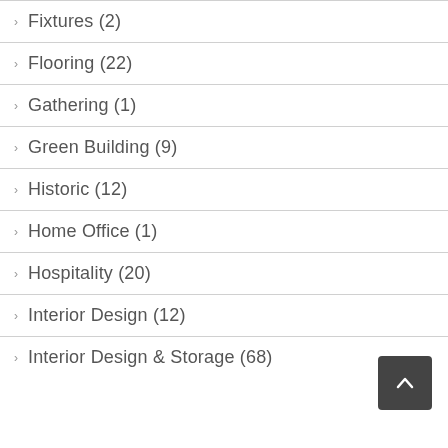Fixtures (2)
Flooring (22)
Gathering (1)
Green Building (9)
Historic (12)
Home Office (1)
Hospitality (20)
Interior Design (12)
Interior Design & Storage (68)